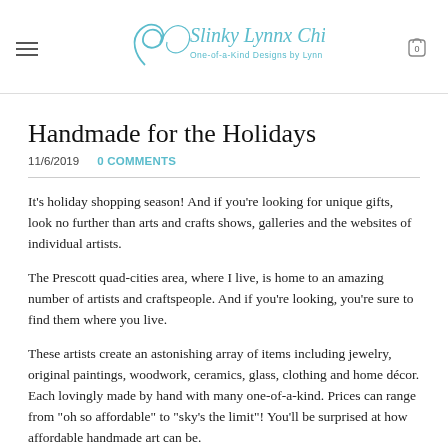Slinky Lynnx Chic — One-of-a-Kind Designs by Lynn Schmitt
Handmade for the Holidays
11/6/2019   0 COMMENTS
It's holiday shopping season! And if you're looking for unique gifts, look no further than arts and crafts shows, galleries and the websites of individual artists.
The Prescott quad-cities area, where I live, is home to an amazing number of artists and craftspeople. And if you're looking, you're sure to find them where you live.
These artists create an astonishing array of items including jewelry, original paintings, woodwork, ceramics, glass, clothing and home décor. Each lovingly made by hand with many one-of-a-kind. Prices can range from "oh so affordable" to "sky's the limit"! You'll be surprised at how affordable handmade art can be.